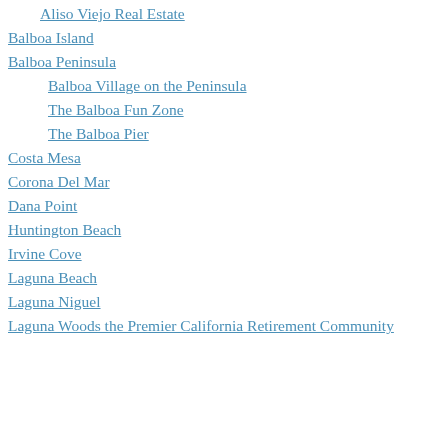Aliso Viejo Real Estate
Balboa Island
Balboa Peninsula
Balboa Village on the Peninsula
The Balboa Fun Zone
The Balboa Pier
Costa Mesa
Corona Del Mar
Dana Point
Huntington Beach
Irvine Cove
Laguna Beach
Laguna Niguel
Laguna Woods the Premier California Retirement Community